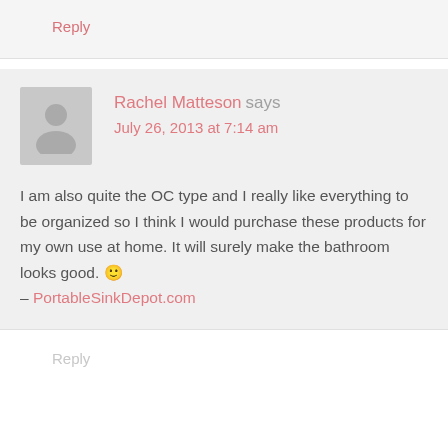Reply
Rachel Matteson says
July 26, 2013 at 7:14 am
I am also quite the OC type and I really like everything to be organized so I think I would purchase these products for my own use at home. It will surely make the bathroom looks good. 🙂
– PortableSinkDepot.com
Reply